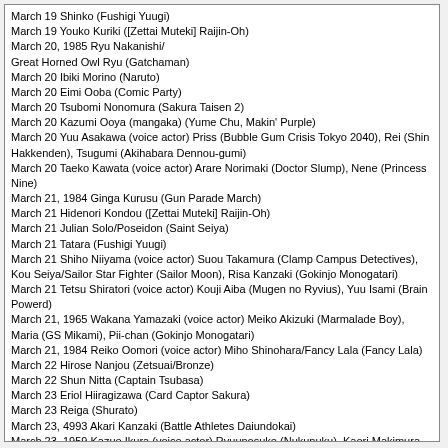March 19 Shinko (Fushigi Yuugi)
March 19 Youko Kuriki ([Zettai Muteki] Raijin-Oh)
March 20, 1985 Ryu Nakanishi/ Great Horned Owl Ryu (Gatchaman)
March 20 Ibiki Morino (Naruto)
March 20 Eimi Ooba (Comic Party)
March 20 Tsubomi Nonomura (Sakura Taisen 2)
March 20 Kazumi Ooya (mangaka) (Yume Chu, Makin' Purple)
March 20 Yuu Asakawa (voice actor) Priss (Bubble Gum Crisis Tokyo 2040), Rei (Shin Hakkenden), Tsugumi (Akihabara Dennou-gumi)
March 20 Taeko Kawata (voice actor) Arare Norimaki (Doctor Slump), Nene (Princess Nine)
March 21, 1984 Ginga Kurusu (Gun Parade March)
March 21 Hidenori Kondou ([Zettai Muteki] Raijin-Oh)
March 21 Julian Solo/Poseidon (Saint Seiya)
March 21 Tatara (Fushigi Yuugi)
March 21 Shiho Niiyama (voice actor) Suou Takamura (Clamp Campus Detectives), Kou Seiya/Sailor Star Fighter (Sailor Moon), Risa Kanzaki (Gokinjo Monogatari)
March 21 Tetsu Shiratori (voice actor) Kouji Aiba (Mugen no Ryvius), Yuu Isami (Brain Powerd)
March 21, 1965 Wakana Yamazaki (voice actor) Meiko Akizuki (Marmalade Boy), Maria (GS Mikami), Pii-chan (Gokinjo Monogatari)
March 21, 1984 Reiko Oomori (voice actor) Miho Shinohara/Fancy Lala (Fancy Lala)
March 22 Hirose Nanjou (Zetsuai/Bronze)
March 22 Shun Nitta (Captain Tsubasa)
March 23 Eriol Hiiragizawa (Card Captor Sakura)
March 23 Reiga (Shurato)
March 23, 4993 Akari Kanzaki (Battle Athletes Daiundokai)
March 23, 1959 Kazue Ikura (voice actor) Ryuunosuke (Nukunuku), Kaori Makimura (City Hunter), Ashura-ou (Rg Veda)
March 23 Hideyuki Hori (voice actor) Strike Otoko (Taiho Shichau Zo), Kyouya Izuyoi (Demon City Shinjuku), Ryuuga (Hokuto no Ken)
March 24 Tomomi and Mikage Matsunaga (Miracle Girls)
March 24 Ophiuchus Shaina (Saint Seiya)
March 24 Kino Asakura (Shaman King)
March 24 Jean Leo (Sakura Taisen 3)
March 24, 1968 Jack Turner (Art of Fighting)
March 24, 1973 Sakura Tange (voice actor) Sakura Kinomoto (Card Captor Sakura), Suzu (Marmalade Boy), Mil (Maze)